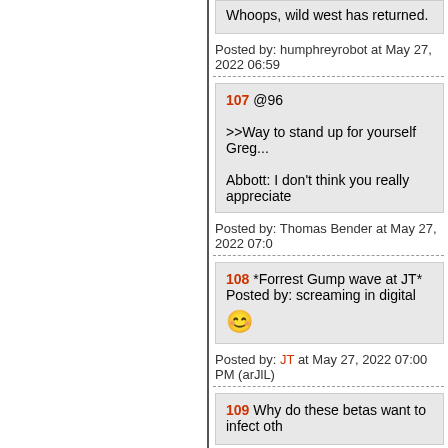Whoops, wild west has returned.
Posted by: humphreyrobot at May 27, 2022 06:59
107 @96 >>Way to stand up for yourself Greg... Abbott: I don't think you really appreciate
Posted by: Thomas Bender at May 27, 2022 07:0
108 *Forrest Gump wave at JT* Posted by: screaming in digital
Posted by: JT at May 27, 2022 07:00 PM (arJlL)
109 Why do these betas want to infect oth
Posted by: Brometheus at May 27, 2022 07:00 PM
110 screaming in digital, I love the shirt